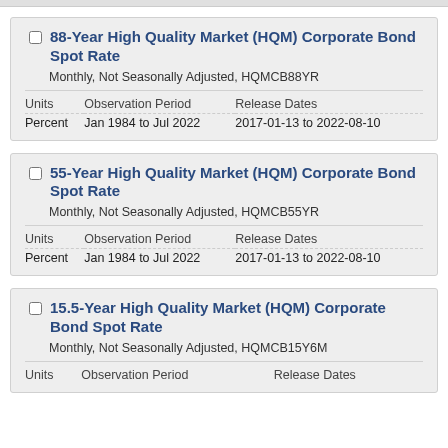88-Year High Quality Market (HQM) Corporate Bond Spot Rate
Monthly, Not Seasonally Adjusted, HQMCB88YR
| Units | Observation Period | Release Dates |
| --- | --- | --- |
| Percent | Jan 1984 to Jul 2022 | 2017-01-13 to 2022-08-10 |
55-Year High Quality Market (HQM) Corporate Bond Spot Rate
Monthly, Not Seasonally Adjusted, HQMCB55YR
| Units | Observation Period | Release Dates |
| --- | --- | --- |
| Percent | Jan 1984 to Jul 2022 | 2017-01-13 to 2022-08-10 |
15.5-Year High Quality Market (HQM) Corporate Bond Spot Rate
Monthly, Not Seasonally Adjusted, HQMCB15Y6M
| Units | Observation Period | Release Dates |
| --- | --- | --- |